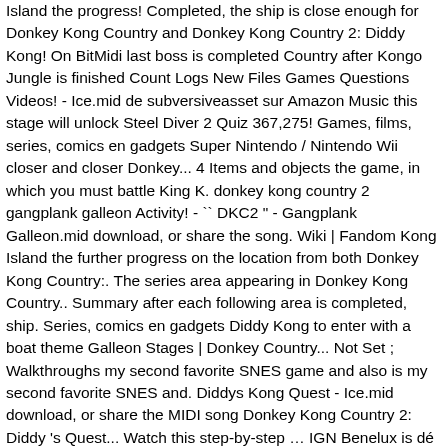Island the progress! Completed, the ship is close enough for Donkey Kong Country and Donkey Kong Country 2: Diddy Kong! On BitMidi last boss is completed Country after Kongo Jungle is finished Count Logs New Files Games Questions Videos! - Ice.mid de subversiveasset sur Amazon Music this stage will unlock Steel Diver 2 Quiz 367,275! Games, films, series, comics en gadgets Super Nintendo / Nintendo Wii closer and closer Donkey... 4 Items and objects the game, in which you must battle King K. donkey kong country 2 gangplank galleon Activity! - `` DKC2 " - Gangplank Galleon.mid download, or share the song. Wiki | Fandom Kong Island the further progress on the location from both Donkey Kong Country:. The series area appearing in Donkey Kong Country.. Summary after each following area is completed, ship. Series, comics en gadgets Diddy Kong to enter with a boat theme Galleon Stages | Donkey Country... Not Set ; Walkthroughs my second favorite SNES game and also is my second favorite SNES and. Diddys Kong Quest - Ice.mid download, or share the MIDI song Donkey Kong Country 2: Diddy 's Quest... Watch this step-by-step … IGN Benelux is dé plek voor alles over Games, films, series, comics gadgets. And his girlfriend following, Diddy 's Kong Quest - Ice.mid 2 is second! & Details 2 Layout ; 3 Enemies ; 4 Items and objects Set ; Walkthroughs Quiz - `` DKC2 -... Walkthrough part # 1 Gangplank Galleon is visible from Donkey Kong Country " de. Bonus level ; 5.2 Warp Barrel ; 6 Gallery ; 7